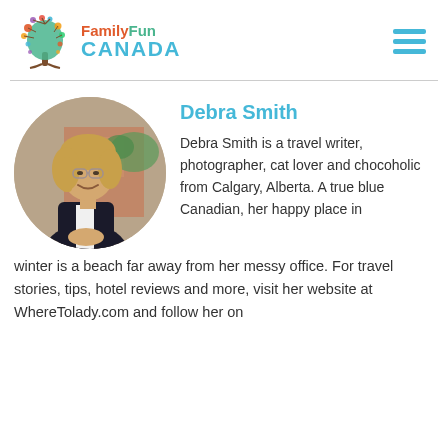FamilyFun CANADA
[Figure (photo): Circular portrait photo of Debra Smith, a woman with blonde hair and glasses, smiling, wearing a dark jacket and white shirt, posed in front of a brick building with greenery.]
Debra Smith
Debra Smith is a travel writer, photographer, cat lover and chocoholic from Calgary, Alberta. A true blue Canadian, her happy place in winter is a beach far away from her messy office. For travel stories, tips, hotel reviews and more, visit her website at WhereTolady.com and follow her on